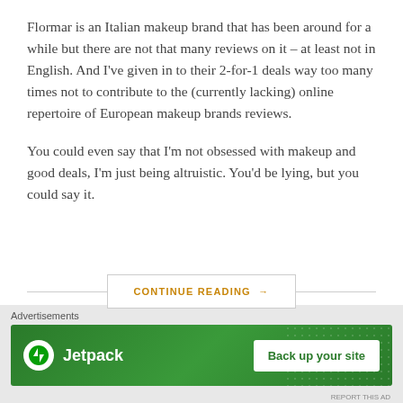Flormar is an Italian makeup brand that has been around for a while but there are not that many reviews on it – at least not in English. And I've given in to their 2-for-1 deals way too many times not to contribute to the (currently lacking) online repertoire of European makeup brands reviews.
You could even say that I'm not obsessed with makeup and good deals, I'm just being altruistic. You'd be lying, but you could say it.
CONTINUE READING →
Advertisements
[Figure (screenshot): Jetpack advertisement banner with green background showing Jetpack logo and 'Back up your site' button]